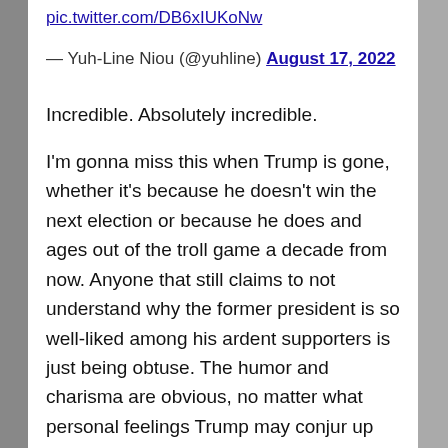pic.twitter.com/DB6xIUKoNw
— Yuh-Line Niou (@yuhline) August 17, 2022
Incredible. Absolutely incredible.
I'm gonna miss this when Trump is gone, whether it's because he doesn't win the next election or because he does and ages out of the troll game a decade from now. Anyone that still claims to not understand why the former president is so well-liked among his ardent supporters is just being obtuse. The humor and charisma are obvious, no matter what personal feelings Trump may conjur up for some people.